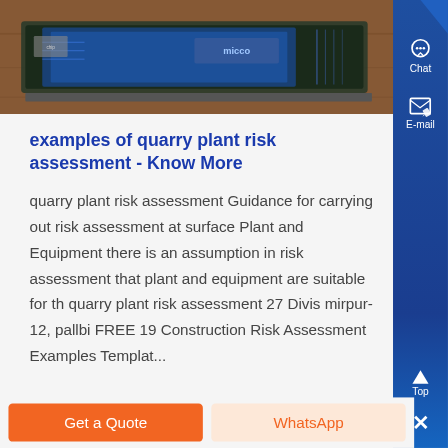[Figure (photo): Photo of electronic circuit board / RAM module with blue lighting on wooden surface]
examples of quarry plant risk assessment - Know More
quarry plant risk assessment Guidance for carrying out risk assessment at surface Plant and Equipment there is an assumption in risk assessment that plant and equipment are suitable for th quarry plant risk assessment 27 Divis mirpur-12, pallbi FREE 19 Construction Risk Assessment Examples Templat...
Get a Quote
WhatsApp